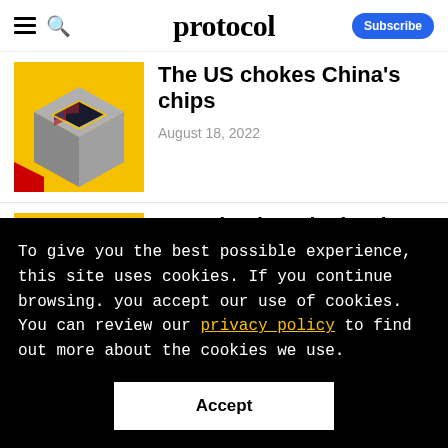protocol
[Figure (illustration): Isometric illustration of a semiconductor chip with a US flag pattern on yellow and grey background]
The US chokes China's chips
August 18, 2022
One election playbook
To give you the best possible experience, this site uses cookies. If you continue browsing. you accept our use of cookies. You can review our privacy policy to find out more about the cookies we use.
Accept